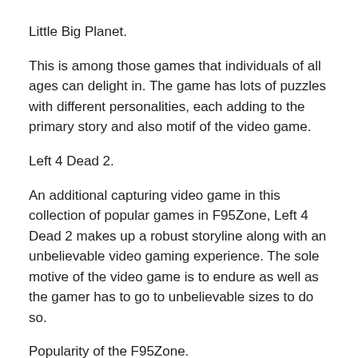Little Big Planet.
This is among those games that individuals of all ages can delight in. The game has lots of puzzles with different personalities, each adding to the primary story and also motif of the video game.
Left 4 Dead 2.
An additional capturing video game in this collection of popular games in F95Zone, Left 4 Dead 2 makes up a robust storyline along with an unbelievable video gaming experience. The sole motive of the video game is to endure as well as the gamer has to go to unbelievable sizes to do so.
Popularity of the F95Zone.